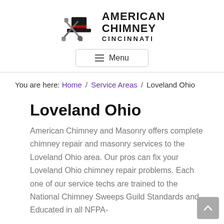[Figure (logo): American Chimney Cincinnati logo with top hat and crossed brushes icon and bold text]
≡ Menu
You are here: Home / Service Areas / Loveland Ohio
Loveland Ohio
American Chimney and Masonry offers complete chimney repair and masonry services to the Loveland Ohio area. Our pros can fix your Loveland Ohio chimney repair problems. Each one of our service techs are trained to the National Chimney Sweeps Guild Standards and Educated in all NFPA-